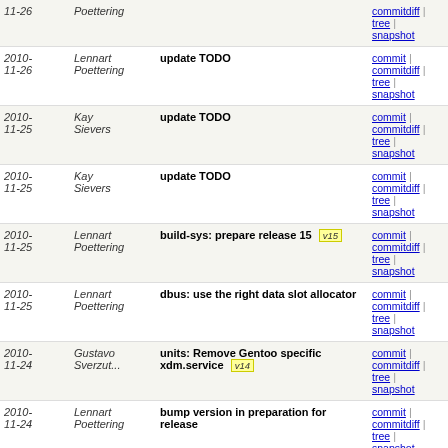| Date | Author | Message | Links |
| --- | --- | --- | --- |
| 2010-11-26 | Lennart Poettering | (continued) | commitdiff | tree | snapshot |
| 2010-11-26 | Lennart Poettering | update TODO | commit | commitdiff | tree | snapshot |
| 2010-11-25 | Kay Sievers | update TODO | commit | commitdiff | tree | snapshot |
| 2010-11-25 | Kay Sievers | update TODO | commit | commitdiff | tree | snapshot |
| 2010-11-25 | Lennart Poettering | build-sys: prepare release 15  v15 | commit | commitdiff | tree | snapshot |
| 2010-11-25 | Lennart Poettering | dbus: use the right data slot allocator | commit | commitdiff | tree | snapshot |
| 2010-11-24 | Gustavo Sverzut... | units: Remove Gentoo specific xdm.service  v14 | commit | commitdiff | tree | snapshot |
| 2010-11-24 | Lennart Poettering | bump version in preparation for release | commit | commitdiff | tree | snapshot |
| 2010-11-24 | Lennart Poettering | manager: bump up max number of units to 128K | commit | commitdiff | tree | snapshot |
| 2010-11-24 | Lennart Poettering | build-sys: get rid of special fedor install target | commit | commitdiff | tree | snapshot |
| 2010-11-24 | Thierry Reding | build-sys: distribute integrational... | commit | commitdiff |